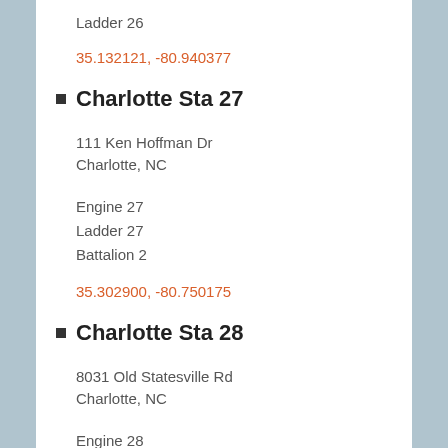Ladder 26
35.132121, -80.940377
Charlotte Sta 27
111 Ken Hoffman Dr
Charlotte, NC
Engine 27
Ladder 27
Battalion 2
35.302900, -80.750175
Charlotte Sta 28
8031 Old Statesville Rd
Charlotte, NC
Engine 28
Ladder 28